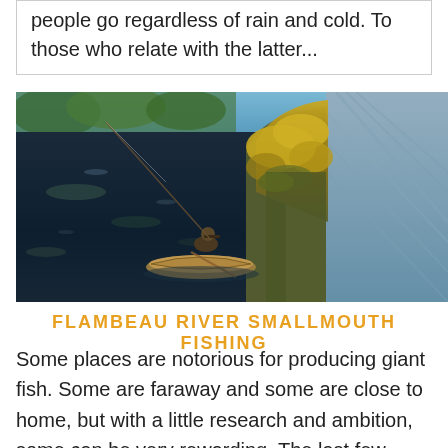people go regardless of rain and cold. To those who relate with the latter...
[Figure (photo): A person in a kayak fishing on a river near a dam or spillway, with lush green vegetation on the bank and rippling water in the background.]
FLAMBEAU RIVER SMALLMOUTH FISHING
Some places are notorious for producing giant fish. Some are faraway and some are close to home, but with a little research and ambition, some can be very rewarding. The last few seasons I've been researching and planning where to go to find big river smallmouth bass....